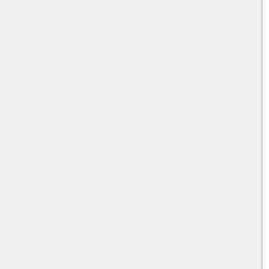using the setPrimeInput method in the signature
Write a parameter validator for your prime parameter if your task should be listed not